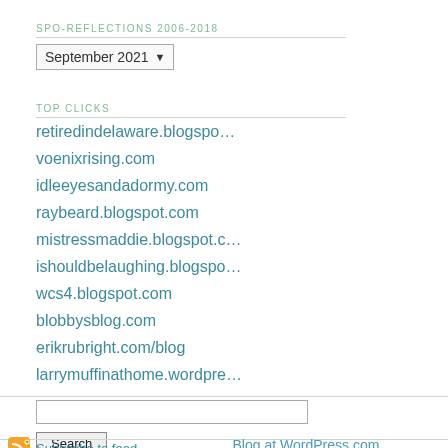SPO-REFLECTIONS 2006-2018
September 2021 ▾
TOP CLICKS
retiredindelaware.blogspo…
voenixrising.com
idleeyesandadormy.com
raybeard.blogspot.com
mistressmaddie.blogspot.c…
ishouldbelaughing.blogspo…
wcs4.blogspot.com
blobbysblog.com
erikrubright.com/blog
larrymuffinathome.wordpre…
[Figure (screenshot): Search input box and Search button]
Subscribe to feed.   Blog at WordPress.com. Ben Eastaugh and Chris Sternal-Johns